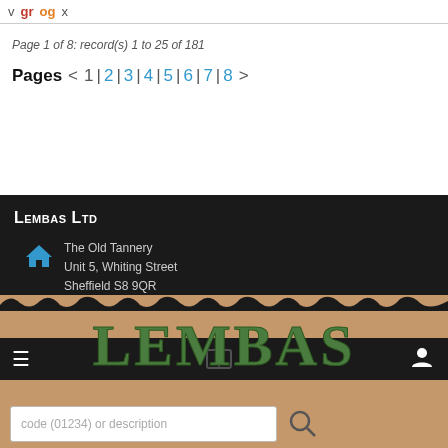v gr og x
Page 1 of 8: record(s) 1 to 25 of 181
Pages < 1 | 2 | 3 | 4 | 5 | 6 | 7 | 8 >
Lembas Ltd
The Old Tannery
Unit 5, Whiting Street
Sheffield S8 9QR
01142586056
[Figure (logo): Lembas decorative logo text in green on tan/brown cardboard textured background]
code (01234) or description